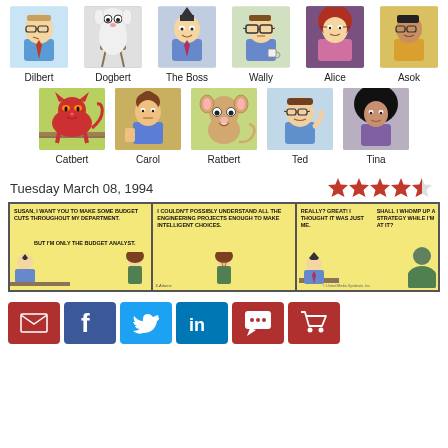[Figure (illustration): Dilbert character avatar - man with glasses in blue shirt]
Dilbert
[Figure (illustration): Dogbert character avatar - small white dog]
Dogbert
[Figure (illustration): The Boss character avatar - man with pointy hair]
The Boss
[Figure (illustration): Wally character avatar - man with glasses]
Wally
[Figure (illustration): Alice character avatar - woman with red hair]
Alice
[Figure (illustration): Asok character avatar - young man in yellow]
Asok
[Figure (illustration): Catbert character avatar - red cat]
Catbert
[Figure (illustration): Carol character avatar - woman]
Carol
[Figure (illustration): Ratbert character avatar - rat]
Ratbert
[Figure (illustration): Ted character avatar - man]
Ted
[Figure (illustration): Tina character avatar - woman with big hair]
Tina
Tuesday March 08, 1994
[Figure (illustration): 4.5 star rating - 4 filled red stars and 1 half star]
[Figure (illustration): Dilbert comic strip from Tuesday March 08 1994 - three panels. Panel 1: Boss says SUSAN, I WANT YOU TO MAKE SOME BUDGET CUTS THROUGHOUT MY DEPARTMENT. Susan replies BUT I'M ONLY THE BUDGET ANALYST. Panel 2: Susan says I COULDN'T POSSIBLY UNDERSTAND ALL THE ENGINEERING PROJECTS ENOUGH TO MAKE INTELLIGENT CHOICES. Panel 3: Boss says REALLY? GREAT! I THOUGHT IT WAS JUST ME. SHALL I WHOMP UP A STRATEGY WHILE I'M AT IT?]
[Figure (infographic): Social sharing buttons: email (red), Facebook (blue), Twitter (light blue), LinkedIn (dark blue), comment (dark red), shopping cart (dark red)]